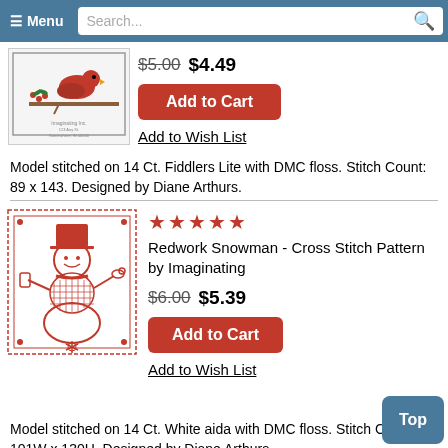≡ Menu  Search...
[Figure (photo): Cross stitch pattern featuring a cardinal bird on a branch with berries in a decorative frame]
$5.00 $4.49
Add to Cart
Add to Wish List
Model stitched on 14 Ct. Fiddlers Lite with DMC floss. Stitch Count: 89 x 143. Designed by Diane Arthurs.
[Figure (photo): Redwork cross stitch pattern featuring a snowman in red thread holding a lantern and bird, surrounded by decorative border]
★★★★★
Redwork Snowman - Cross Stitch Pattern by Imaginating
$6.00 $5.39
Add to Cart
Add to Wish List
Model stitched on 14 Ct. White aida with DMC floss. Stitch Count: 101W x 130H. Designed by Diane Arthurs.